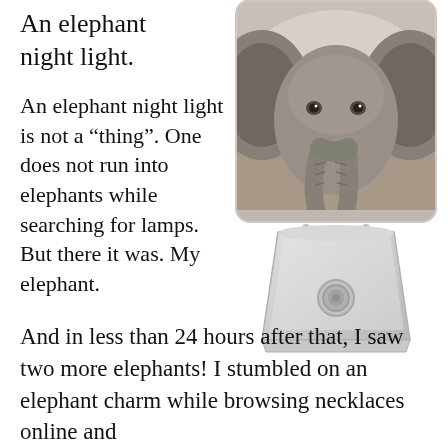An elephant night light.
An elephant night light is not a “thing”. One does not run into elephants while searching for lamps. But there it was. My elephant.
[Figure (photo): A night light with a black and white close-up photo of an elephant with ears spread wide, plugged into an outlet.]
And in less than 24 hours after that, I saw two more elephants!  I stumbled on an elephant charm while browsing necklaces online and